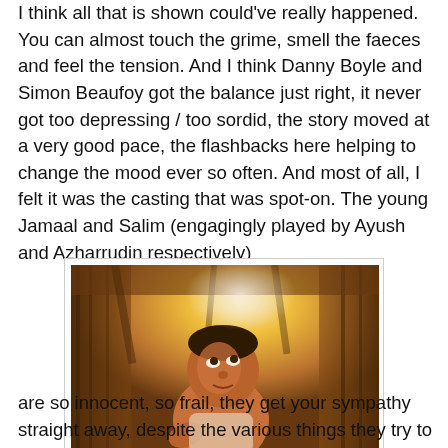I think all that is shown could've really happened. You can almost touch the grime, smell the faeces and feel the tension. And I think Danny Boyle and Simon Beaufoy got the balance just right, it never got too depressing / too sordid, the story moved at a very good pace, the flashbacks here helping to change the mood ever so often. And most of all, I felt it was the casting that was spot-on. The young Jamaal and Salim (engagingly played by Ayush and Azharrudin respectively)
[Figure (photo): A young Indian boy looking upward with hopeful eyes, sitting in what appears to be a wooden shanty structure with warm golden light streaming in from above. The child is shirtless and the image has a warm, cinematic tone.]
are so innocent, so frail, they get your sympathy straight away, despite the various things they try to steal. And the older Jamaal exudes just the right mix of naivity, honesty and